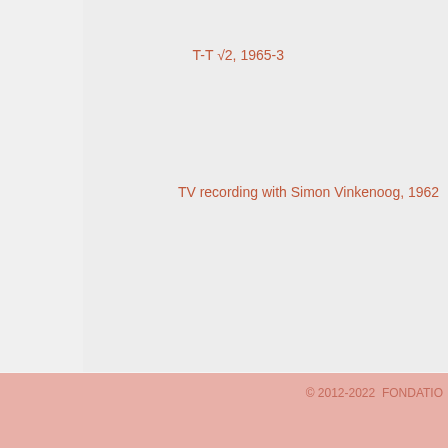T-T √2, 1965-3
TV recording with Simon Vinkenoog, 1962
« first
© 2012-2022  FONDATIO